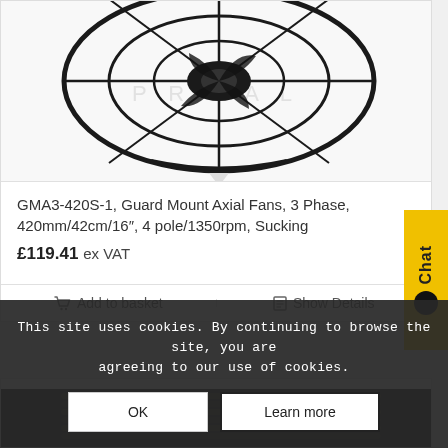[Figure (photo): Top portion of a black industrial axial fan with wire guard, photographed on white background, partially cropped]
GMA3-420S-1, Guard Mount Axial Fans, 3 Phase, 420mm/42cm/16″, 4 pole/1350rpm, Sucking
£119.41 ex VAT
Add to basket
Show Details
[Figure (photo): Partial view of a second industrial product, dark metallic equipment, partially visible at bottom of page]
This site uses cookies. By continuing to browse the site, you are agreeing to our use of cookies.
OK
Learn more